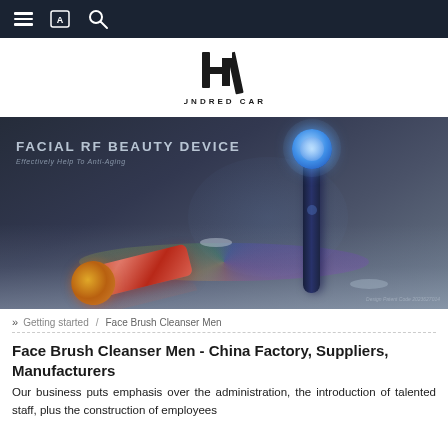Navigation bar with hamburger menu, translate icon, and search icon
[Figure (logo): Hundred Care logo: stylized H/C monogram in black with text HUNDRED CARE below]
[Figure (photo): Facial RF beauty device product image showing two devices - a navy blue upright RF device with glowing blue head and a rose gold/red device lying down on a reflective surface with rainbow disc reflection. Text overlay: FACIAL RF BEAUTY DEVICE, Effectively Help To Anti-Aging. Design Patent Code 2023627014.]
» Getting started / Face Brush Cleanser Men
Face Brush Cleanser Men - China Factory, Suppliers, Manufacturers
Our business puts emphasis over the administration, the introduction of talented staff, plus the construction of employees...